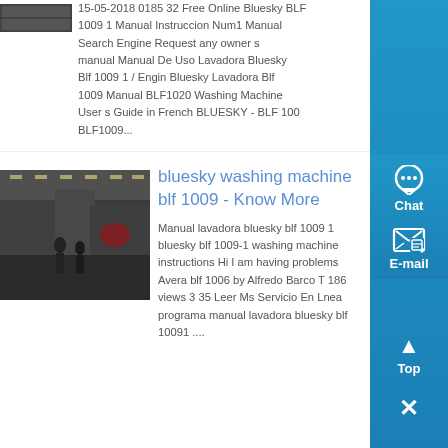15-05-2018 0185 32 Free Online Bluesky BLF 1009 1 Manual Instruccion Num1 Manual Search Engine Request any owner s manual Manual De Uso Lavadora Bluesky Blf 1009 1 / Engin Bluesky Lavadora Blf 1009 Manual BLF1020 Washing Machine User s Guide in French BLUESKY - BLF 100 BLF1009...
[Figure (photo): Industrial or factory interior with people walking, overhead lights, and machinery]
bluesky washing machine blf 1009 - Know More
Manual lavadora bluesky blf 1009 1 bluesky blf 1009-1 washing machine instructions Hi I am having problems Avera blf 1006 by Alfredo Barco T 186 views 3 35 Leer Ms Servicio En Lnea programa manual lavadora bluesky blf 10091 ....